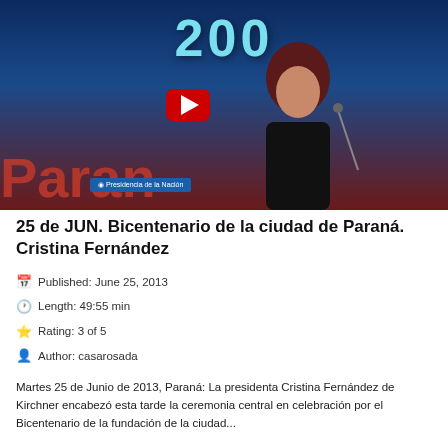[Figure (photo): Video thumbnail showing a woman speaking at a podium with '200' text and 'Presidencia de la Nación' sign, with a YouTube play button overlay. Red 'Paraná' text visible at bottom left.]
25 de JUN. Bicentenario de la ciudad de Paraná. Cristina Fernández
Published: June 25, 2013
Length: 49:55 min
Rating: 3 of 5
Author: casarosada
Martes 25 de Junio de 2013, Paraná: La presidenta Cristina Fernández de Kirchner encabezó esta tarde la ceremonia central en celebración por el Bicentenario de la fundación de la ciudad...